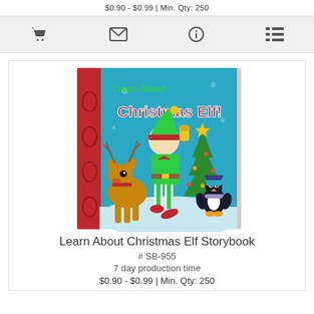$0.90 - $0.99 | Min. Qty: 250
[Figure (illustration): Four navigation icons in a gray bar: shopping cart, envelope/email, info circle, and list/menu icon]
[Figure (illustration): Book cover for 'Learn About Christmas Elf!' showing a cartoon elf with striped stockings, a reindeer, Christmas tree, and penguin on a snowy background with red spine]
Learn About Christmas Elf Storybook
# SB-955
7 day production time
$0.90 - $0.99 | Min. Qty: 250